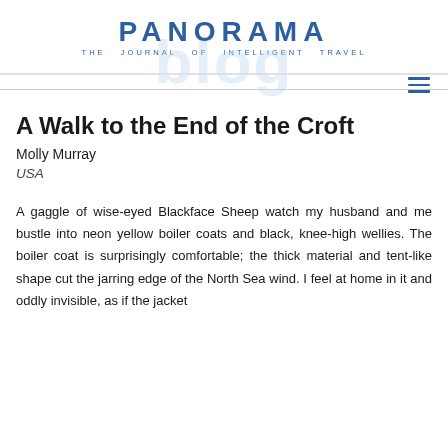PANORAMA
THE JOURNAL OF INTELLIGENT TRAVEL
A Walk to the End of the Croft
Molly Murray
USA
A gaggle of wise-eyed Blackface Sheep watch my husband and me bustle into neon yellow boiler coats and black, knee-high wellies. The boiler coat is surprisingly comfortable; the thick material and tent-like shape cut the jarring edge of the North Sea wind. I feel at home in it and oddly invisible, as if the jacket